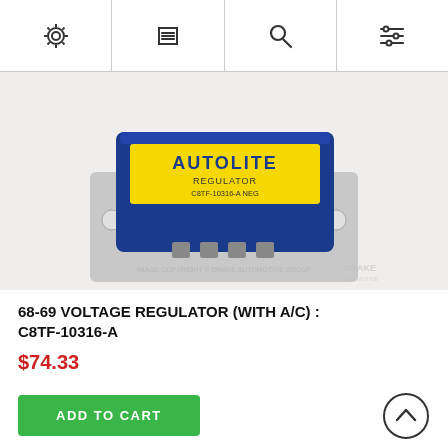Navigation bar with settings, menu, search, and filter icons
[Figure (photo): Autolite voltage regulator, blue rectangular unit labeled AUTOLITE REGULATOR C8TF-10316-A NEG, with silver mounting bracket, sitting on white background. Watermark reads IMAGE COPYRIGHT © DRAKE AUTOMOTIVE GROUP with Drake logo.]
68-69 VOLTAGE REGULATOR (WITH A/C) : C8TF-10316-A
$74.33
ADD TO CART